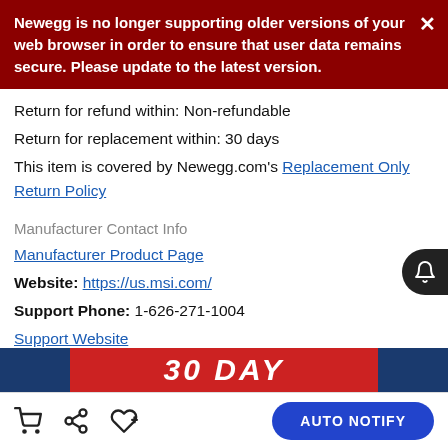Newegg is no longer supporting older versions of your web browser in order to ensure that user data remains secure. Please update to the latest version.
Return for refund within: Non-refundable
Return for replacement within: 30 days
This item is covered by Newegg.com's Replacement Only Return Policy
Manufacturer Contact Info
Manufacturer Product Page
Website: https://us.msi.com/
Support Phone: 1-626-271-1004
Support Website
View other products from MSI
[Figure (screenshot): Partial promotional banner with '30 DAY' text visible at bottom]
AUTO NOTIFY navigation bar with cart, share, and wishlist icons